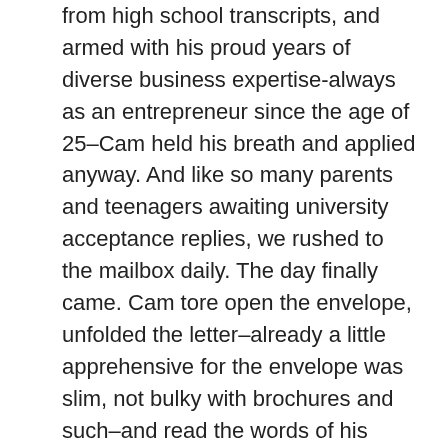from high school transcripts, and armed with his proud years of diverse business expertise-always as an entrepreneur since the age of 25–Cam held his breath and applied anyway. And like so many parents and teenagers awaiting university acceptance replies, we rushed to the mailbox daily. The day finally came. Cam tore open the envelope, unfolded the letter–already a little apprehensive for the envelope was slim, not bulky with brochures and such–and read the words of his decline. Based on what? His grades. He was graded at age 50 on his performance at 18. Sometimes somethings seem to follow you around forever!
Blast! What a mistake in judgment they'd made. Cam would have been the best, the most quintessential of browner adult students that